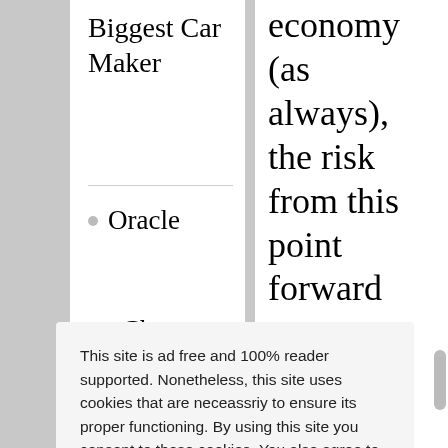Biggest Car Maker
Oracle
economy (as always), the risk from this point forward
This site is ad free and 100% reader supported. Nonetheless, this site uses cookies that are neceassriy to ensure its proper functioning. By using this site you consent to these cookies. You also agree to our Disclaimer  Learn More
Got it!
doesn't mean